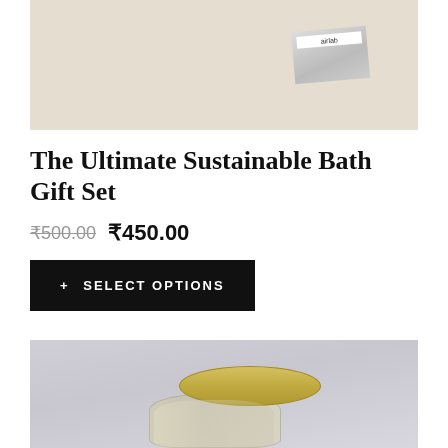[Figure (photo): Product photo of The Ultimate Sustainable Bath Gift Set on beige/tan background, showing top portion of product packaging]
The Ultimate Sustainable Bath Gift Set
₹500.00 ₹450.00
+ SELECT OPTIONS
[Figure (photo): Close-up photo of a glass jar with gold lid containing a product, on a light gray background]